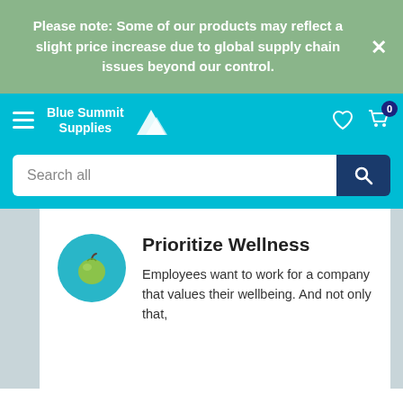Please note: Some of our products may reflect a slight price increase due to global supply chain issues beyond our control.
[Figure (screenshot): Blue Summit Supplies navigation bar with hamburger menu, logo with mountain icon, heart and cart icons]
Search all
Prioritize Wellness
Employees want to work for a company that values their wellbeing. And not only that,